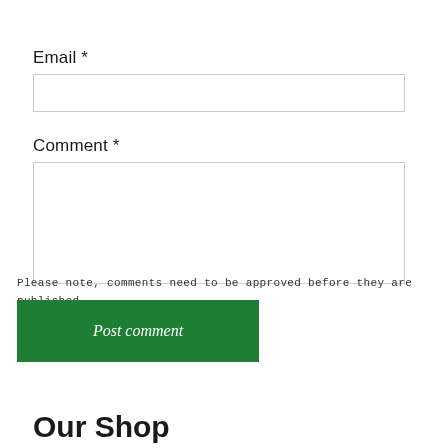Email *
Comment *
Please note, comments need to be approved before they are published.
Post comment
Our Shop